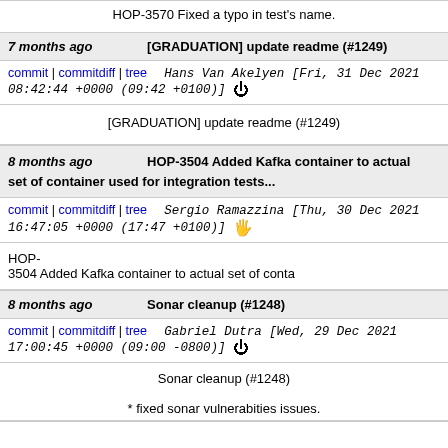HOP-3570 Fixed a typo in test's name.
7 months ago   [GRADUATION] update readme (#1249)
commit | commitdiff | tree   Hans Van Akelyen [Fri, 31 Dec 2021 08:42:44 +0000 (09:42 +0100)]
[GRADUATION] update readme (#1249)
8 months ago   HOP-3504 Added Kafka container to actual set of container used for integration tests...
commit | commitdiff | tree   Sergio Ramazzina [Thu, 30 Dec 2021 16:47:05 +0000 (17:47 +0100)]
HOP-3504 Added Kafka container to actual set of conta...
8 months ago   Sonar cleanup (#1248)
commit | commitdiff | tree   Gabriel Dutra [Wed, 29 Dec 2021 17:00:45 +0000 (09:00 -0800)]
Sonar cleanup (#1248)
* fixed sonar vulnerabities issues.